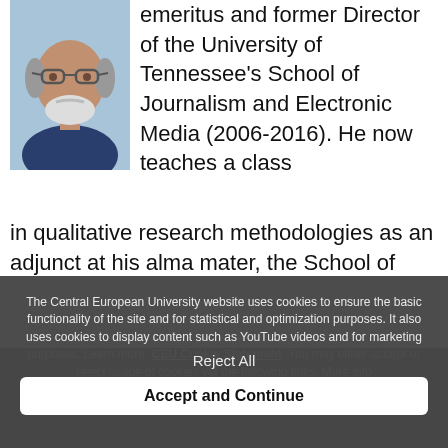[Figure (photo): Headshot of an older man with glasses and a white beard, wearing a dark blue shirt, against a light blue background.]
emeritus and former Director of the University of Tennessee's School of Journalism and Electronic Media (2006-2016). He now teaches a class in qualitative research methodologies as an adjunct at his alma mater, the School of
The Central European University website uses cookies to ensure the basic functionality of the site and for statistical and optimization purposes. It also uses cookies to display content such as YouTube videos and for marketing purposes. Learn more: CEU Cookie Statement. You may either accept or reject usage of cookies via the following links. More info
Reject All
Accept and Continue